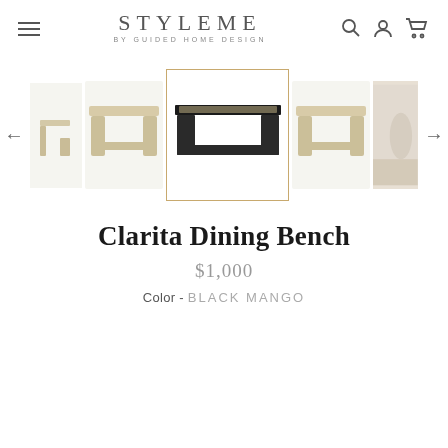STYLEME BY GUIDED HOME DESIGN
[Figure (screenshot): Product image carousel showing Clarita Dining Bench in multiple views: side view (light wood), front view (light wood), center selected view (black metal frame with wood top, highlighted with gold border), another light wood front view, and a partial room setting photo. Left and right navigation arrows visible.]
Clarita Dining Bench
$1,000
Color - BLACK MANGO